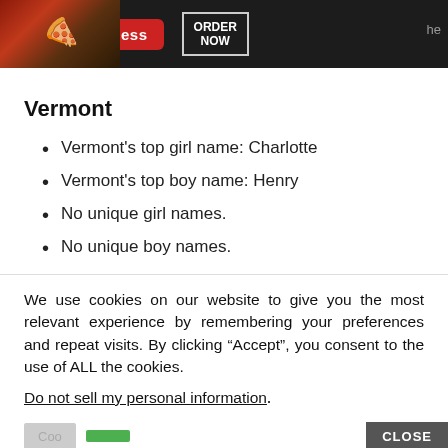[Figure (infographic): Seamless pizza delivery advertisement banner with pizza image on left, red Seamless logo button in center, and ORDER NOW button on right]
Vermont
Vermont's top girl name: Charlotte
Vermont's top boy name: Henry
No unique girl names.
No unique boy names.
We use cookies on our website to give you the most relevant experience by remembering your preferences and repeat visits. By clicking “Accept”, you consent to the use of ALL the cookies.
Do not sell my personal information.
[Figure (infographic): Victoria's Secret advertisement banner with model on left, VS logo, SHOP THE COLLECTION text, and SHOP NOW button]